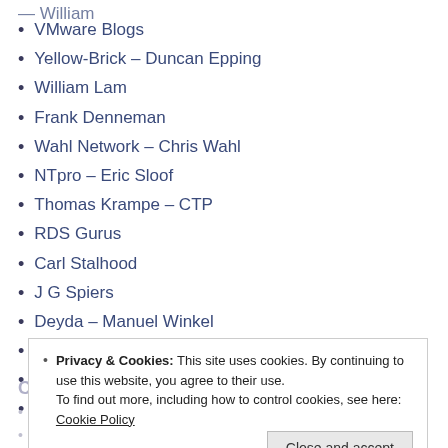VMware Blogs
Yellow-Brick – Duncan Epping
William Lam
Frank Denneman
Wahl Network – Chris Wahl
NTpro – Eric Sloof
Thomas Krampe – CTP
RDS Gurus
Carl Stalhood
J G Spiers
Deyda – Manuel Winkel
Bas van Kaam
Christiaan Brinkhoff
Azure Blog List
Privacy & Cookies: This site uses cookies. By continuing to use this website, you agree to their use. To find out more, including how to control cookies, see here: Cookie Policy
Communities
VMUG EUC Workspace
VMUG Germany West
VMUG ...